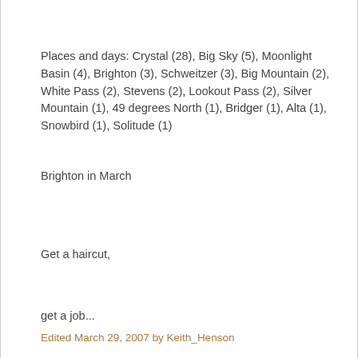Places and days: Crystal (28), Big Sky (5), Moonlight Basin (4), Brighton (3), Schweitzer (3), Big Mountain (2), White Pass (2), Stevens (2), Lookout Pass (2), Silver Mountain (1), 49 degrees North (1), Bridger (1), Alta (1), Snowbird (1), Solitude (1)
Brighton in March
Get a haircut,
get a job...
Edited March 29, 2007 by Keith_Henson